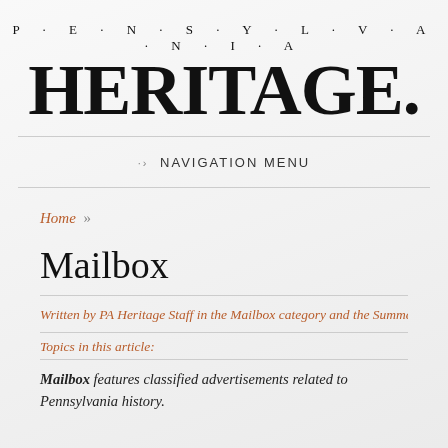PENNSYLVANIA HERITAGE
NAVIGATION MENU
Home »
Mailbox
Written by PA Heritage Staff in the Mailbox category and the Summer 1985 iss
Topics in this article:
Mailbox features classified advertisements related to Pennsylvania history.